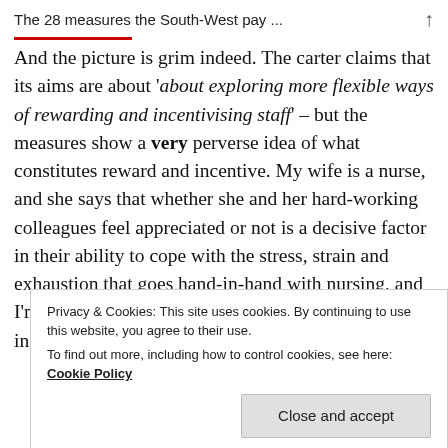The 28 measures the South-West pay ...
And the picture is grim indeed. The carter claims that its aims are about 'about exploring more flexible ways of rewarding and incentivising staff' – but the measures show a very perverse idea of what constitutes reward and incentive. My wife is a nurse, and she says that whether she and her hard-working colleagues feel appreciated or not is a decisive factor in their ability to cope with the stress, strain and exhaustion that goes hand-in-hand with nursing, and I'm sure the same is true of any health-worker. Those in the South-
Privacy & Cookies: This site uses cookies. By continuing to use this website, you agree to their use.
To find out more, including how to control cookies, see here: Cookie Policy
Close and accept